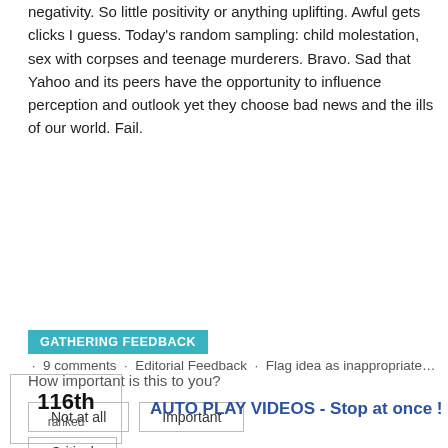negativity. So little positivity or anything uplifting. Awful gets clicks I guess. Today's random sampling: child molestation, sex with corpses and teenage murderers. Bravo. Sad that Yahoo and its peers have the opportunity to influence perception and outlook yet they choose bad news and the ills of our world. Fail.
GATHERING FEEDBACK · 9 comments · Editorial Feedback · Flag idea as inappropriate…
How important is this to you?
Not at all
Important
Critical
116th ranked
AUTO PLAY VIDEOS - Stop at once !